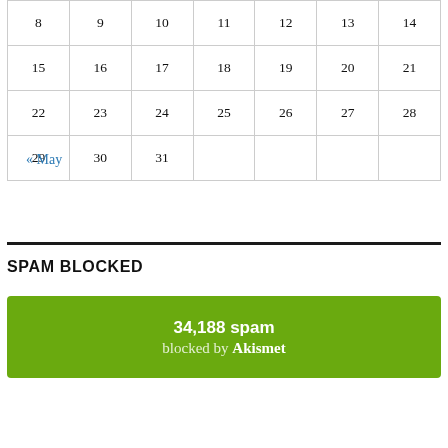| 8 | 9 | 10 | 11 | 12 | 13 | 14 |
| 15 | 16 | 17 | 18 | 19 | 20 | 21 |
| 22 | 23 | 24 | 25 | 26 | 27 | 28 |
| 29 | 30 | 31 |  |  |  |  |
« May
SPAM BLOCKED
34,188 spam blocked by Akismet